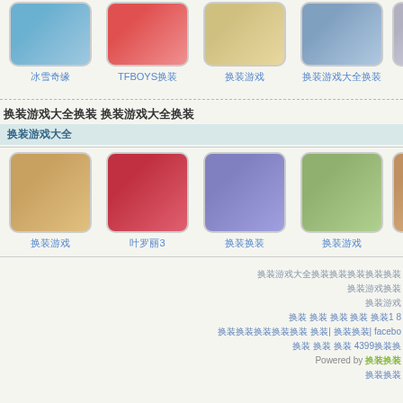[Figure (screenshot): Row of game thumbnail images at top of page]
冰雪奇缘
TFBOYS换装
换装游戏
换装游戏大全换装
换装游戏大全换装 换装游戏大全换装
换装游戏大全
[Figure (screenshot): Row of anime-style dress-up game thumbnails]
换装游戏
叶罗丽3
换装换装
换装游戏
换装游戏大全换装换装换装换装换装 换装游戏换装 换装游戏 换装游戏 换装游戏 换装1 8 换装换装换装换装换装 换装| 换装换装| facebook 换装 换装 换装 4399换装换 Powered by 换装换装 换装换装